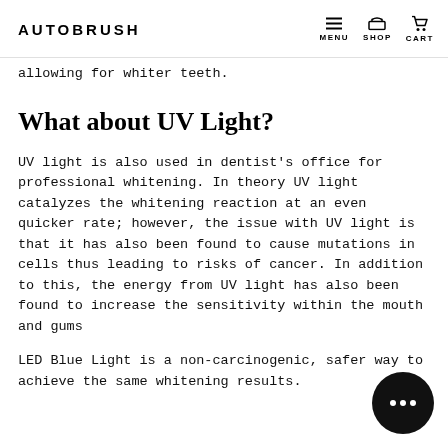AUTOBRUSH  MENU  SHOP  CART
allowing for whiter teeth.
What about UV Light?
UV light is also used in dentist's office for professional whitening. In theory UV light catalyzes the whitening reaction at an even quicker rate; however, the issue with UV light is that it has also been found to cause mutations in cells thus leading to risks of cancer. In addition to this, the energy from UV light has also been found to increase the sensitivity within the mouth and gums
LED Blue Light is a non-carcinogenic, safer way to achieve the same whitening results.